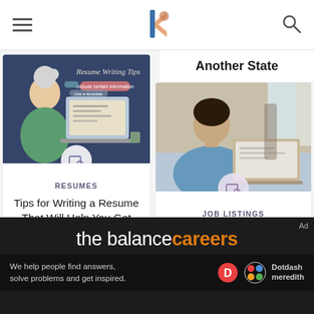Navigation bar with hamburger menu, The Balance Careers logo, and search icon
Another State
[Figure (illustration): Illustration of a person looking at a laptop with 'Resume Writing Tips' text overlay and speech bubbles showing tips. A job search briefcase icon overlay at bottom center.]
RESUMES
Tips for Writing a Resume That Will Help You Get Hired
[Figure (photo): Photo of a woman working on a laptop at a desk. A job search briefcase icon overlay at bottom center.]
JOB LISTINGS
The 10 Best Job Search Websites of 2022
the balance careers — We help people find answers, solve problems and get inspired. Dotdash meredith. Ad